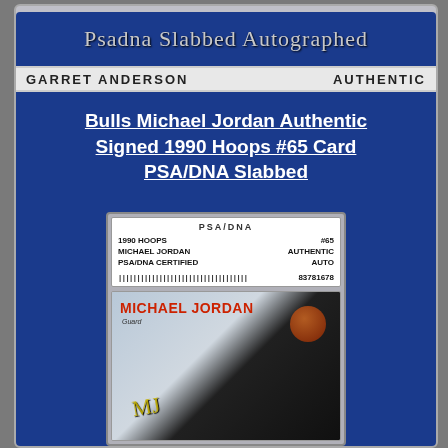Psadna Slabbed Autographed
GARRET ANDERSON   AUTHENTIC
Bulls Michael Jordan Authentic Signed 1990 Hoops #65 Card PSA/DNA Slabbed
[Figure (photo): PSA/DNA slabbed authenticated Michael Jordan 1990 Hoops #65 card showing PSA/DNA label with certification number 83781678 and the basketball card below featuring Michael Jordan in Bulls uniform with autograph]